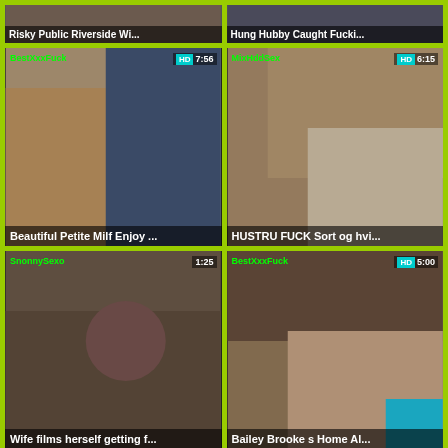[Figure (screenshot): Video thumbnail grid - top row partial: 'Risky Public Riverside Wi...' and 'Hung Hubby Caught Fucki...']
[Figure (screenshot): Video thumbnail: BestXxxFuck, HD, 7:56, Beautiful Petite Milf Enjoy...]
[Figure (screenshot): Video thumbnail: MixHddSex, HD, 6:15, HUSTRU FUCK Sort og hvi...]
[Figure (screenshot): Video thumbnail: SnonnySexo, 1:25, Wife films herself getting f...]
[Figure (screenshot): Video thumbnail: BestXxxFuck, HD, 5:00, Bailey Brooke s Home Al...]
[Figure (screenshot): Video thumbnail: SexTubePorno, 2:23 (partial)]
[Figure (screenshot): Video thumbnail: BestXxxFuck, HD, 12:00 (partial)]